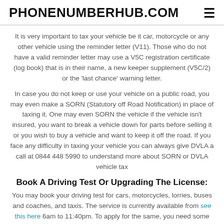PHONENUMBERHUB.COM
It is very important to tax your vehicle be it car, motorcycle or any other vehicle using the reminder letter (V11). Those who do not have a valid reminder letter may use a V5C registration certificate (log book) that is in their name, a new keeper supplement (V5C/2) or the 'last chance' warning letter.
In case you do not keep or use your vehicle on a public road, you may even make a SORN (Statutory off Road Notification) in place of taxing it. One may even SORN the vehicle if the vehicle isn't insured, you want to break a vehicle down for parts before selling it or you wish to buy a vehicle and want to keep it off the road. If you face any difficulty in taxing your vehicle you can always give DVLA a call at 0844 448 5990 to understand more about SORN or DVLA vehicle tax
Book A Driving Test Or Upgrading The License:
You may book your driving test for cars, motorcycles, lorries, buses and coaches, and taxis. The service is currently available from see this here 6am to 11:40pm. To apply for the same, you need some valid documents that include UK driving license number, credit or debit card, driving instructor's